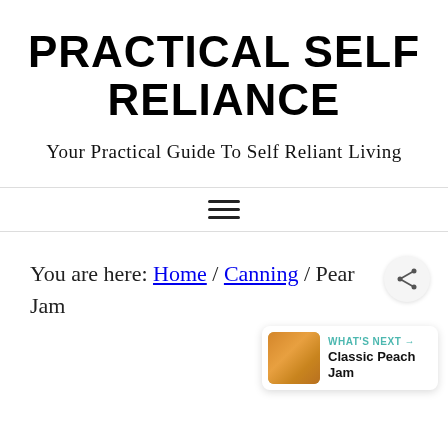PRACTICAL SELF RELIANCE
Your Practical Guide To Self Reliant Living
You are here: Home / Canning / Pear Jam
[Figure (other): WHAT'S NEXT arrow — Classic Peach Jam with peach jam thumbnail image]